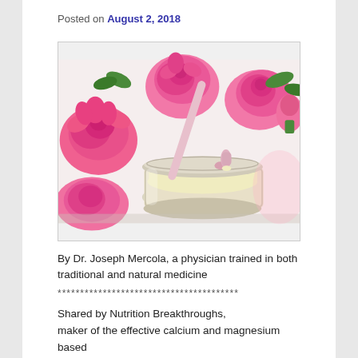Posted on August 2, 2018
[Figure (photo): Glass jar of pale yellow cream with a pink spatula or brush, surrounded by vivid pink roses on a white background.]
By Dr. Joseph Mercola, a physician trained in both traditional and natural medicine
****************************************
Shared by Nutrition Breakthroughs, maker of the effective calcium and magnesium based sleep aid Sleep Minerals II
**********************************